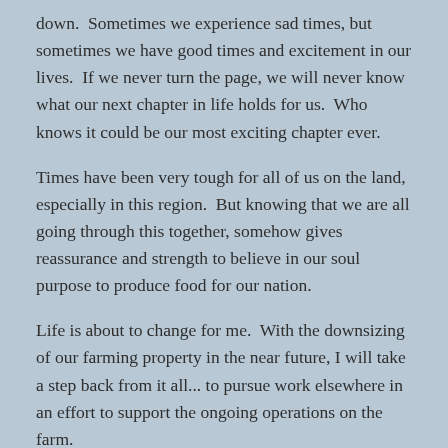down.  Sometimes we experience sad times, but sometimes we have good times and excitement in our lives.  If we never turn the page, we will never know what our next chapter in life holds for us.  Who knows it could be our most exciting chapter ever.
Times have been very tough for all of us on the land, especially in this region.  But knowing that we are all going through this together, somehow gives reassurance and strength to believe in our soul purpose to produce food for our nation.
Life is about to change for me.  With the downsizing of our farming property in the near future, I will take a step back from it all... to pursue work elsewhere in an effort to support the ongoing operations on the farm.